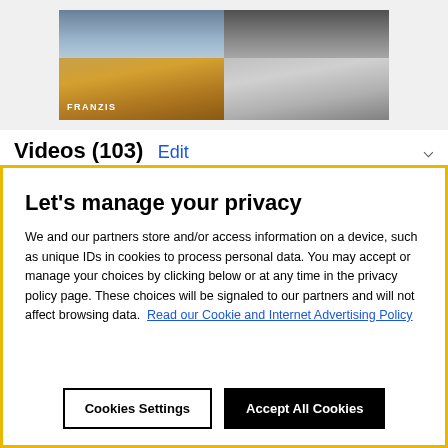[Figure (photo): Two side-by-side images of sand dunes: left is color (warm golden tones with blue sky), right is black and white. FRANZIS watermark on lower left of color image.]
Videos (103) Edit
Let's manage your privacy
We and our partners store and/or access information on a device, such as unique IDs in cookies to process personal data. You may accept or manage your choices by clicking below or at any time in the privacy policy page. These choices will be signaled to our partners and will not affect browsing data.  Read our Cookie and Internet Advertising Policy
Cookies Settings
Accept All Cookies